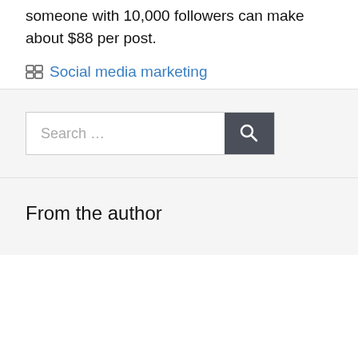someone with 10,000 followers can make about $88 per post.
Social media marketing
[Figure (screenshot): Search bar with text 'Search ...' and a dark gray search button with magnifying glass icon]
From the author